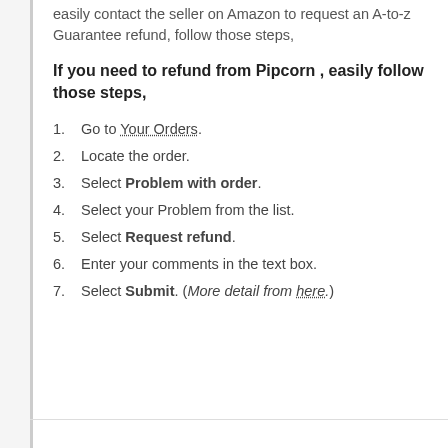easily contact the seller on Amazon to request an A-to-z Guarantee refund, follow those steps,
If you need to refund from Pipcorn , easily follow those steps,
1. Go to Your Orders.
2. Locate the order.
3. Select Problem with order.
4. Select your Problem from the list.
5. Select Request refund.
6. Enter your comments in the text box.
7. Select Submit. (More detail from here.)